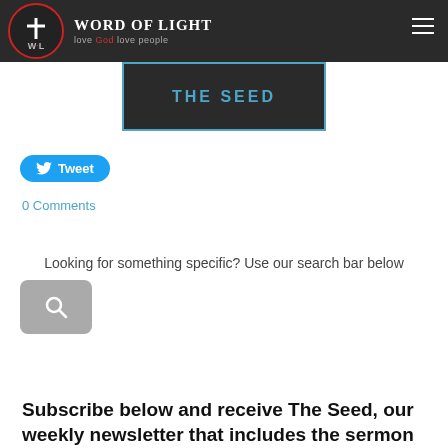Word of Light — love God love people
THE SEED
Tweet
0 Comments
Looking for something specific?  Use our search bar below
[Figure (screenshot): Google enhanced search bar widget]
Subscribe below and receive The Seed, our weekly newsletter that includes the sermon synopsis, and our sermons in your inbox